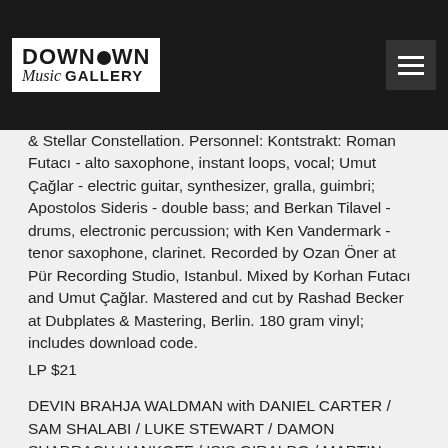Downtown Music Gallery
& Stellar Constellation. Personnel: Kontstrakt: Roman Futacı - alto saxophone, instant loops, vocal; Umut Çağlar - electric guitar, synthesizer, gralla, guimbri; Apostolos Sideris - double bass; and Berkan Tilavel - drums, electronic percussion; with Ken Vandermark - tenor saxophone, clarinet. Recorded by Ozan Öner at Pür Recording Studio, Istanbul. Mixed by Korhan Futacı and Umut Çağlar. Mastered and cut by Rashad Becker at Dubplates & Mastering, Berlin. 180 gram vinyl; includes download code.
LP $21
DEVIN BRAHJA WALDMAN with DANIEL CARTER / SAM SHALABI / LUKE STEWART / DAMON  SHADRACH HANKOFF / ISIS GIRALDO / MARTIN HESLOP / DANIEL GELINAS ANAIS MAVIEL - Brahja (RR Gems 06; Estonia) review next week
LP $22
IANNIS XENAKIS - Persepolis (KarlRecords 044; Germany) Limited 2019 repress. After La Légende d'Eer in 2016 (KR